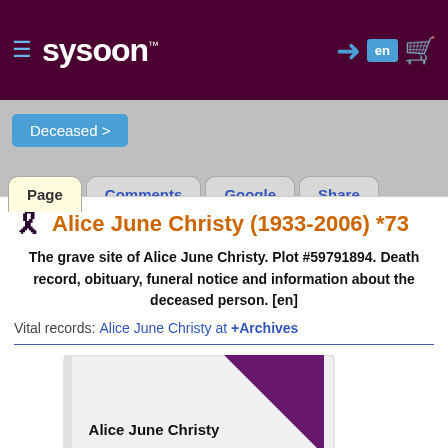sysoon
Deceased >
Page | Comments | Google | Share
Alice June Christy (1933-2006) *73
The grave site of Alice June Christy. Plot #59791894. Death record, obituary, funeral notice and information about the deceased person. [en]
Vital records: Alice June Christy at +Archives
[Figure (photo): Book/memorial cover showing 'Alice June Christy' with a purple diagonal ribbon, and '(1933 - 2006)' at the bottom]